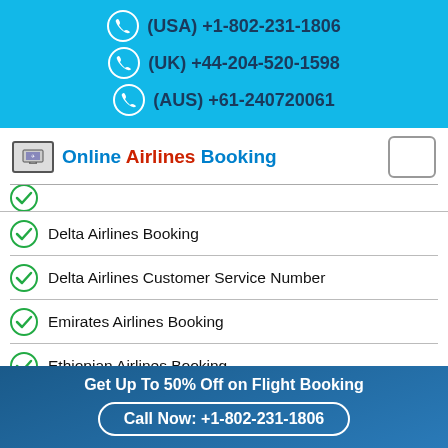(USA) +1-802-231-1806
(UK) +44-204-520-1598
(AUS) +61-240720061
Online Airlines Booking
Delta Airlines Booking
Delta Airlines Customer Service Number
Emirates Airlines Booking
Ethiopian Airlines Booking
Frontier Airlines Reservations
Hawaiian Airlines Reservations
Jetblue Airlines Reservations
Get Up To 50% Off on Flight Booking
Call Now: +1-802-231-1806